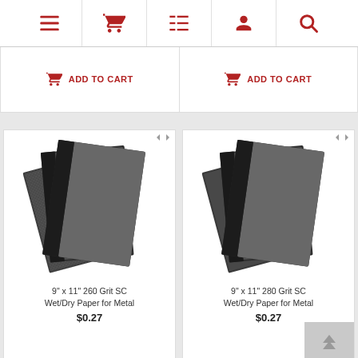[Figure (screenshot): Navigation bar with menu, cart, list, user, and search icons in dark red]
ADD TO CART
ADD TO CART
[Figure (photo): Sandpaper sheets, 9x11 inches, 260 Grit SC Wet/Dry Paper for Metal, dark gray textured]
9" x 11" 260 Grit SC Wet/Dry Paper for Metal
$0.27
[Figure (photo): Sandpaper sheets, 9x11 inches, 280 Grit SC Wet/Dry Paper for Metal, dark gray textured]
9" x 11" 280 Grit SC Wet/Dry Paper for Metal
$0.27